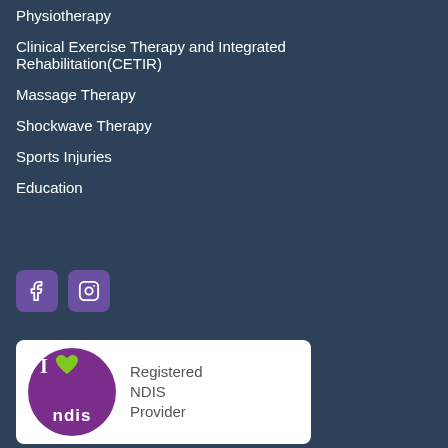Physiotherapy
Clinical Exercise Therapy and Integrated Rehabilitation(CETIR)
Massage Therapy
Shockwave Therapy
Sports Injuries
Education
[Figure (logo): Facebook and Instagram social media icon buttons (purple rounded squares)]
[Figure (logo): I love NDIS Registered NDIS Provider badge with purple circle logo containing I heart ndis text and a green heart, on white background]